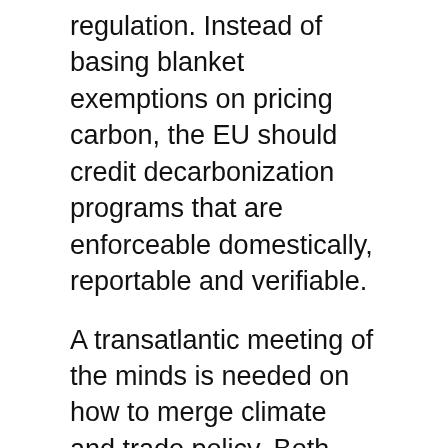regulation. Instead of basing blanket exemptions on pricing carbon, the EU should credit decarbonization programs that are enforceable domestically, reportable and verifiable.
A transatlantic meeting of the minds is needed on how to merge climate and trade policy. Both sides of the Atlantic should work to leverage their combined market power, in coordination with other economies with similar climate mitigation goals, such as Canada, Japan and the Republic of Korea, to green global supply chains and encourage China to adopt policies that are consistent with the Paris Agreement. Moreover, forging a common path would help strengthen the